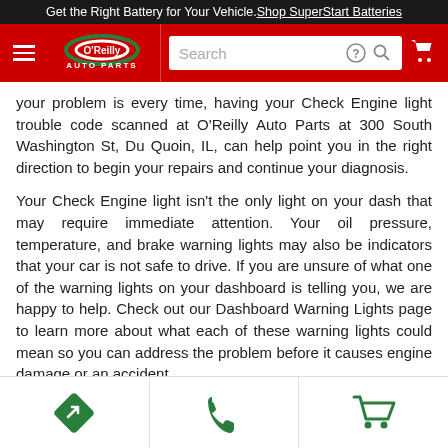Get the Right Battery for Your Vehicle. Shop SuperStart Batteries
[Figure (logo): O'Reilly Auto Parts logo with navigation bar including hamburger menu, search box, help icon, search icon, and cart icon]
your problem is every time, having your Check Engine light trouble code scanned at O'Reilly Auto Parts at 300 South Washington St, Du Quoin, IL, can help point you in the right direction to begin your repairs and continue your diagnosis.
Your Check Engine light isn't the only light on your dash that may require immediate attention. Your oil pressure, temperature, and brake warning lights may also be indicators that your car is not safe to drive. If you are unsure of what one of the warning lights on your dashboard is telling you, we are happy to help. Check out our Dashboard Warning Lights page to learn more about what each of these warning lights could mean so you can address the problem before it causes engine damage or an accident
[Figure (infographic): Bottom navigation bar with three green icons: a navigation/directions diamond icon, a phone icon, and a shopping cart icon]